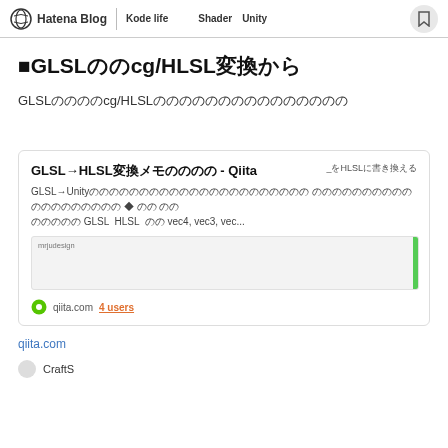Hatena Blog | Kode life　　　Shader　Unity
GLSLからcg/HLSLへの変換
GLSLの書き方からcg/HLSLの書き方への変換を書いておく
（こんな感じの変換で動くんじゃないかなという感じのメモ）
[Figure (screenshot): Qiita link card: GLSL→HLSL変換メモ - Qiita, showing description text about GLSL Unity conversion with code preview and qiita.com domain, 4 users]
qiita.com
Craftsmanfreeware